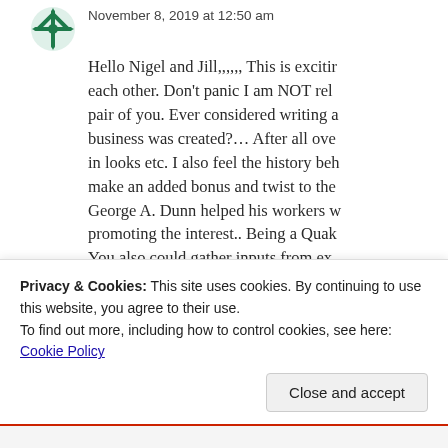[Figure (logo): Green snowflake/flower avatar icon]
November 8, 2019 at 12:50 am
Hello Nigel and Jill,,,,,, This is excitir each other. Don't panic I am NOT rel pair of you. Ever considered writing a business was created?… After all ove in looks etc. I also feel the history bel make an added bonus and twist to the George A. Dunn helped his workers w promoting the interest.. Being a Quak You also could gather inputs from ex I would be very happy to help over th late father who was the manager there With all good wishes to you both
Privacy & Cookies: This site uses cookies. By continuing to use this website, you agree to their use.
To find out more, including how to control cookies, see here: Cookie Policy
Close and accept